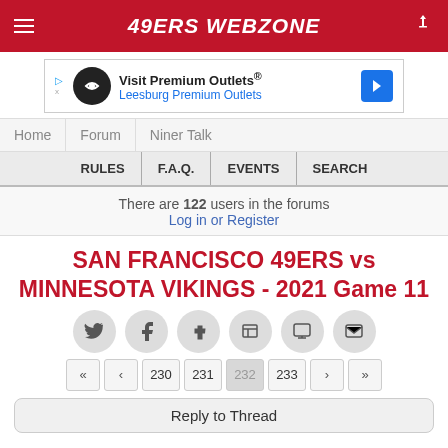49ERS WEBZONE
[Figure (screenshot): Advertisement banner for Visit Premium Outlets / Leesburg Premium Outlets]
Home | Forum | Niner Talk
RULES | F.A.Q. | EVENTS | SEARCH
There are 122 users in the forums
Log in or Register
SAN FRANCISCO 49ERS vs MINNESOTA VIKINGS - 2021 Game 11
Social sharing icons: Twitter, Facebook, Tumblr, Flipboard, Chat, Email
Pagination: « ‹ 230 231 232 233 › »
Reply to Thread